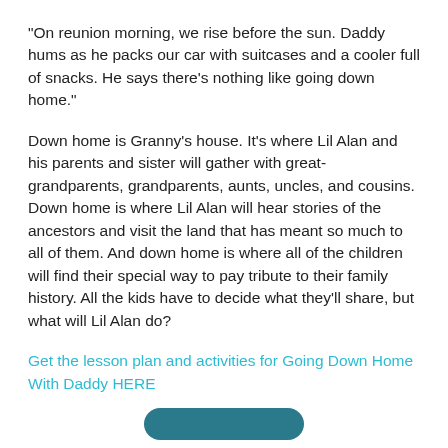“On reunion morning, we rise before the sun. Daddy hums as he packs our car with suitcases and a cooler full of snacks. He says there’s nothing like going down home.”
Down home is Granny’s house. It’s where Lil Alan and his parents and sister will gather with great-grandparents, grandparents, aunts, uncles, and cousins. Down home is where Lil Alan will hear stories of the ancestors and visit the land that has meant so much to all of them. And down home is where all of the children will find their special way to pay tribute to their family history. All the kids have to decide what they’ll share, but what will Lil Alan do?
Get the lesson plan and activities for Going Down Home With Daddy HERE
[Figure (other): Teal/dark teal rounded button at the bottom center of the page]